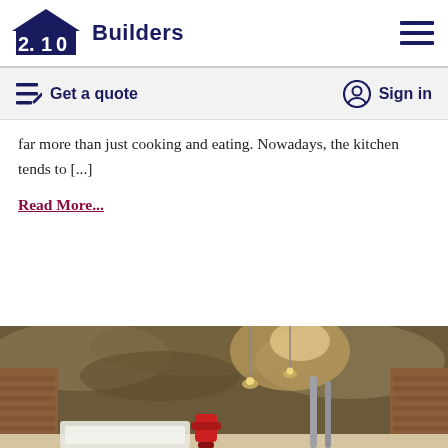2.10 Builders
Get a quote   Sign in
far more than just cooking and eating. Nowadays, the kitchen tends to [...]
Read More...
[Figure (photo): Interior architectural rendering showing a room with brick walls, dramatic cloud ceiling, pendant lights, and industrial elements including a red fire hydrant and metallic pipes.]